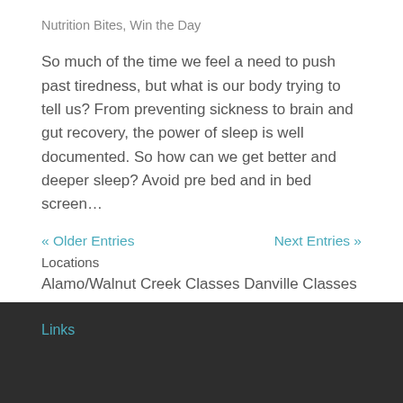Nutrition Bites, Win the Day
So much of the time we feel a need to push past tiredness, but what is our body trying to tell us? From preventing sickness to brain and gut recovery, the power of sleep is well documented. So how can we get better and deeper sleep? Avoid pre bed and in bed screen...
« Older Entries    Next Entries »
Locations
Alamo/Walnut Creek Classes Danville Classes
Links